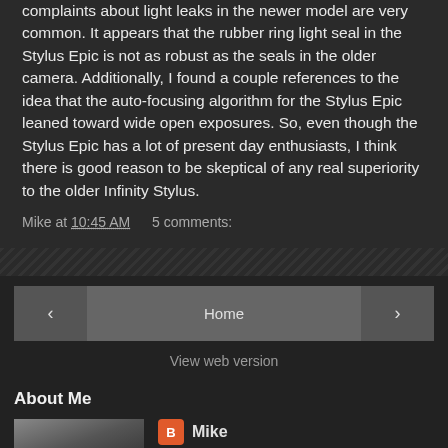complaints about light leaks in the newer model are very common.  It appears that the rubber ring light seal in the Stylus Epic is not as robust as the seals in the older camera.  Additionally, I found a couple references to the idea that the auto-focusing algorithm for the Stylus Epic leaned toward wide open exposures.  So, even though the Stylus Epic has a lot of present day enthusiasts, I think there is good reason to be skeptical of any real superiority to the older Infinity Stylus.
Mike at 10:45 AM    5 comments:
< Home > View web version
About Me
Mike
Albuquerque, New Mexico, United States
I spend much of my time making photographs, usually